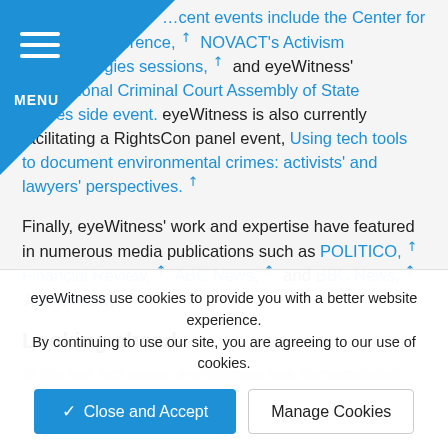...cent events include the Center for Justice's conference, ↗ NOVACT's Activism ↗w Technologies sessions, ↗ and eyeWitness' International Criminal Court Assembly of State Parties side event. eyeWitness is also currently facilitating a RightsCon panel event, Using tech tools to document environmental crimes: activists' and lawyers' perspectives. ↗
Finally, eyeWitness' work and expertise have featured in numerous media publications such as POLITICO, ↗ Financial Review, ↗ ABC News, ↗ and BBC News, ↗ Just Security. ↗
Looking ahead
In the last two years, eyeWitness has demonstrated...
eyeWitness use cookies to provide you with a better website experience. By continuing to use our site, you are agreeing to our use of cookies.